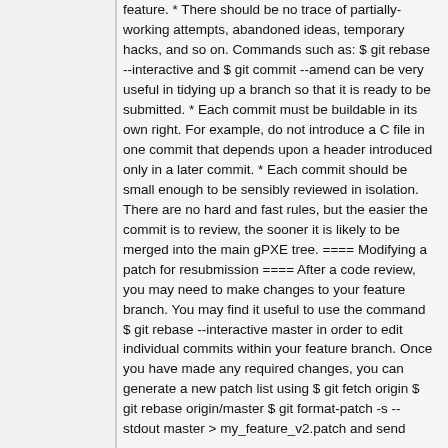feature. * There should be no trace of partially-working attempts, abandoned ideas, temporary hacks, and so on. Commands such as: $ git rebase --interactive and $ git commit --amend can be very useful in tidying up a branch so that it is ready to be submitted. * Each commit must be buildable in its own right. For example, do not introduce a C file in one commit that depends upon a header introduced only in a later commit. * Each commit should be small enough to be sensibly reviewed in isolation. There are no hard and fast rules, but the easier the commit is to review, the sooner it is likely to be merged into the main gPXE tree. ==== Modifying a patch for resubmission ==== After a code review, you may need to make changes to your feature branch. You may find it useful to use the command $ git rebase --interactive master in order to edit individual commits within your feature branch. Once you have made any required changes, you can generate a new patch list using $ git fetch origin $ git rebase origin/master $ git format-patch -s --stdout master > my_feature_v2.patch and send